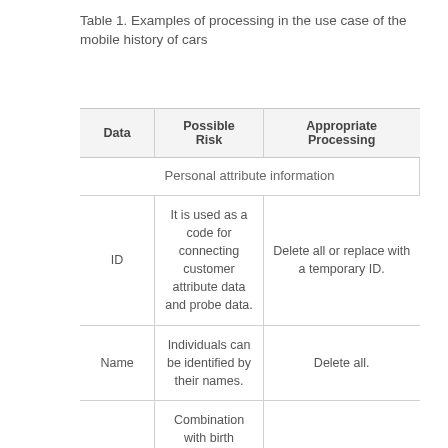Table 1. Examples of processing in the use case of the mobile history of cars
| Data | Possible Risk | Appropriate Processing |
| --- | --- | --- |
| Personal attribute information |  |  |
| ID | It is used as a code for connecting customer attribute data and probe data. | Delete all or replace with a temporary ID. |
| Name | Individuals can be identified by their names. | Delete all. |
|  | Combination with birth |  |